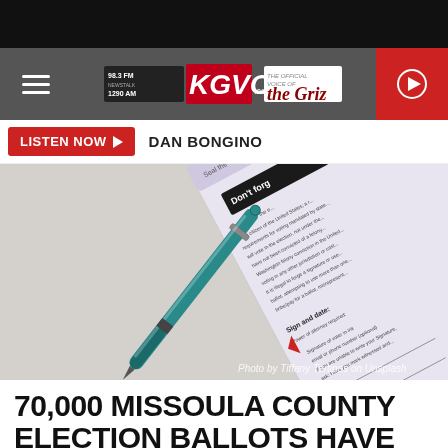[Figure (screenshot): KGVO radio station website header with hamburger menu, KGVO logo with 98.3 FM and 1290 AM, The Griz logo, and red play button]
[Figure (other): Listen Now button with red background and play arrow, followed by DAN BONGINO text]
[Figure (photo): Photo of a mail-in ballot envelope with a teal pen resting on it, showing text Don't forget and Sign and date sections. Photo by Tiffany Tertipes on Unsplash.]
70,000 MISSOULA COUNTY ELECTION BALLOTS HAVE BEEN